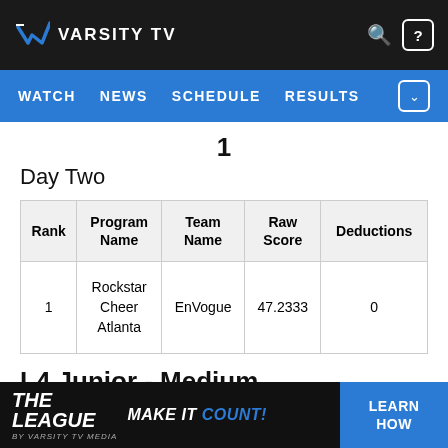VARSITY TV
WATCH  NEWS  SCHEDULE  RESULTS
Day Two
| Rank | Program Name | Team Name | Raw Score | Deductions |
| --- | --- | --- | --- | --- |
| 1 | Rockstar Cheer Atlanta | EnVogue | 47.2333 | 0 |
L4 Junior - Medium
[Figure (logo): THE LEAGUE - MAKE IT COUNT! advertisement banner with LEARN HOW CTA button]